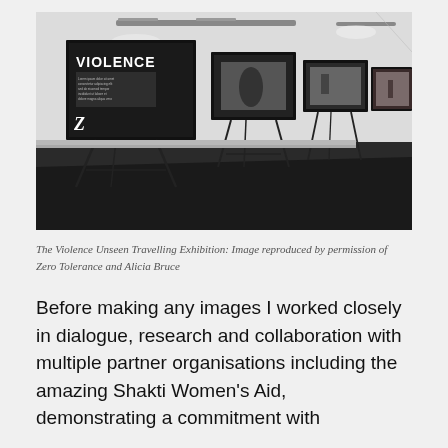[Figure (photo): Interior of an art gallery with black floor and white walls. Multiple large black-framed exhibition boards on easel stands displaying black and white photographs and text. The nearest board reads 'VIOLENCE' with a 'Z' logo. Further boards recede into the background showing photographic images.]
The Violence Unseen Travelling Exhibition: Image reproduced by permission of Zero Tolerance and Alicia Bruce
Before making any images I worked closely in dialogue, research and collaboration with multiple partner organisations including the amazing Shakti Women's Aid, demonstrating a commitment with